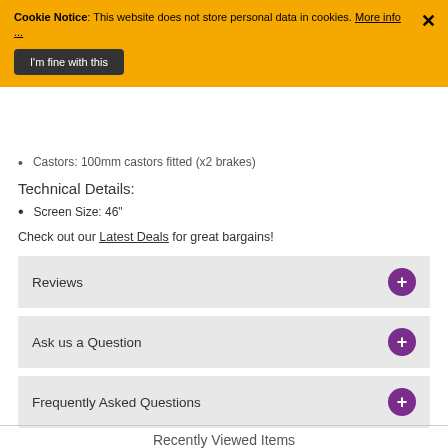Cookie Notice: This website does not store personal data in cookies. More info ...
Castors: 100mm castors fitted (x2 brakes)
Technical Details:
Screen Size: 46"
Check out our Latest Deals for great bargains!
Reviews
Ask us a Question
Frequently Asked Questions
Recently Viewed Items